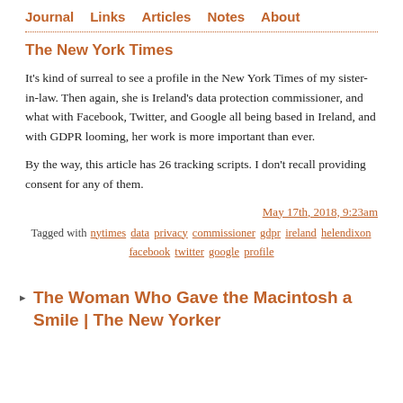Journal   Links   Articles   Notes   About
The New York Times
It's kind of surreal to see a profile in the New York Times of my sister-in-law. Then again, she is Ireland's data protection commissioner, and what with Facebook, Twitter, and Google all being based in Ireland, and with GDPR looming, her work is more important than ever.

By the way, this article has 26 tracking scripts. I don't recall providing consent for any of them.
May 17th, 2018, 9:23am
Tagged with nytimes data privacy commissioner gdpr ireland helendixon facebook twitter google profile
The Woman Who Gave the Macintosh a Smile | The New Yorker